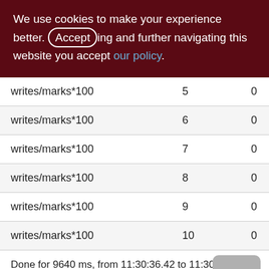We use cookies to make your experience better. By accepting and further navigating this website you accept our policy.
| writes/marks*100 | 5 | 0 |
| writes/marks*100 | 6 | 0 |
| writes/marks*100 | 7 | 0 |
| writes/marks*100 | 8 | 0 |
| writes/marks*100 | 9 | 0 |
| writes/marks*100 | 10 | 0 |
Done for 9640 ms, from 11:30:36.42 to 11:30:46.0.
Performance in DETAILS: